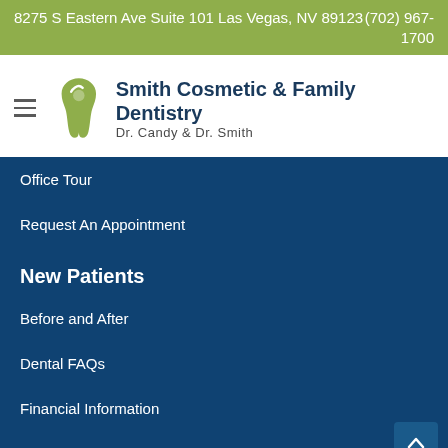8275 S Eastern Ave Suite 101 Las Vegas, NV 89123   (702) 967-1700
[Figure (logo): Smith Cosmetic & Family Dentistry logo with tooth icon, hamburger menu icon, and text 'Dr. Candy & Dr. Smith']
Office Tour
Request An Appointment
New Patients
Before and After
Dental FAQs
Financial Information
Patient Forms